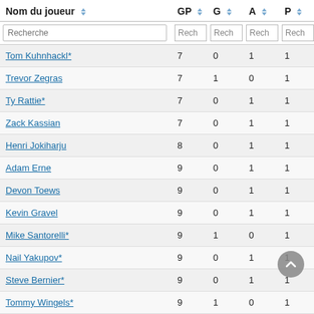| Nom du joueur | GP | G | A | P |
| --- | --- | --- | --- | --- |
| Tom Kuhnhackl* | 7 | 0 | 1 | 1 |
| Trevor Zegras | 7 | 1 | 0 | 1 |
| Ty Rattie* | 7 | 0 | 1 | 1 |
| Zack Kassian | 7 | 0 | 1 | 1 |
| Henri Jokiharju | 8 | 0 | 1 | 1 |
| Adam Erne | 9 | 0 | 1 | 1 |
| Devon Toews | 9 | 0 | 1 | 1 |
| Kevin Gravel | 9 | 0 | 1 | 1 |
| Mike Santorelli* | 9 | 1 | 0 | 1 |
| Nail Yakupov* | 9 | 0 | 1 | 1 |
| Steve Bernier* | 9 | 0 | 1 | 1 |
| Tommy Wingels* | 9 | 1 | 0 | 1 |
| Artturi Lehkonen | 10 | 0 | 1 | 1 |
| Derek Grant | 10 | 1 | 0 | 1 |
| Ivan Barbashev | 11 | 0 | 1 | 1 |